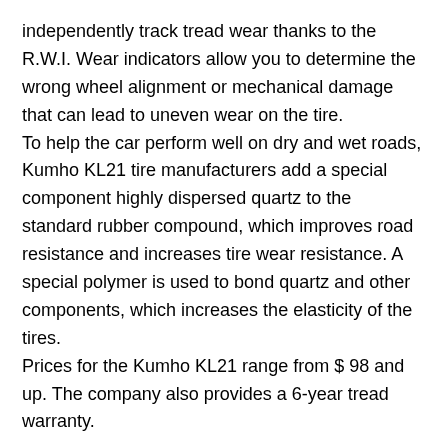independently track tread wear thanks to the R.W.I. Wear indicators allow you to determine the wrong wheel alignment or mechanical damage that can lead to uneven wear on the tire. To help the car perform well on dry and wet roads, Kumho KL21 tire manufacturers add a special component highly dispersed quartz to the standard rubber compound, which improves road resistance and increases tire wear resistance. A special polymer is used to bond quartz and other components, which increases the elasticity of the tires. Prices for the Kumho KL21 range from $ 98 and up. The company also provides a 6-year tread warranty.
Tire features